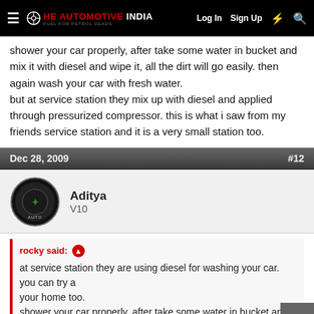The Automotive India — Log In  Sign Up
shower your car properly, after take some water in bucket and mix it with diesel and wipe it, all the dirt will go easily. then again wash your car with fresh water.
but at service station they mix up with diesel and applied through pressurized compressor. this is what i saw from my friends service station and it is a very small station too.
Dec 28, 2009  #12
Aditya
V10
rocky said:
at service station they are using diesel for washing your car. you can try at your home too.
shower your car properly, after take some water in bucket and mix it with diesel and wipe it, all the dirt will go easily. then again wash your car with fresh